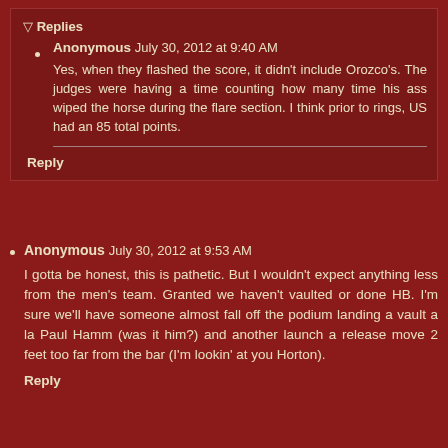Replies
Anonymous July 30, 2012 at 9:40 AM
Yes, when they flashed the score, it didn't include Orozco's. The judges were having a time counting how many time his ass wiped the horse during the flare section. I think prior to rings, US had an 85 total points.
Reply
Anonymous July 30, 2012 at 9:53 AM
I gotta be honest, this is pathetic. But I wouldn't expect anything less from the men's team. Granted we haven't vaulted or done HB. I'm sure we'll have someone almost fall off the podium landing a vault a la Paul Hamm (was it him?) and another launch a release move 2 feet too far from the bar (I'm lookin' at you Horton).
Reply